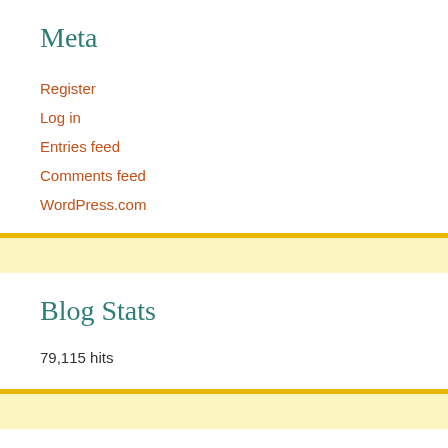Meta
Register
Log in
Entries feed
Comments feed
WordPress.com
Blog Stats
79,115 hits
C21st Left